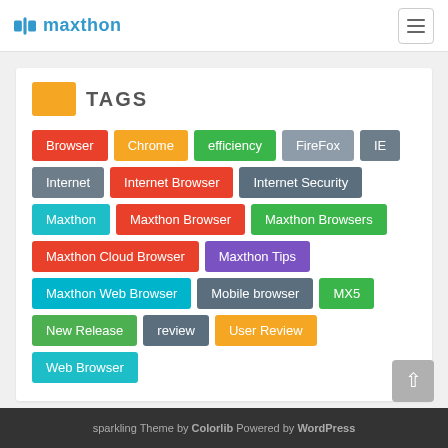maxthon
TAGS
Browser
Chrome
efficiency
FireFox
IE
Internet
Internet Browser
Internet Security
Maxthon
Maxthon Browser
Maxthon Browsers
Maxthon Cloud Browser
Maxthon Tips
Maxthon Web Browser
Mobile browser
MX5
New Release
review
User Review
Web Browser
sparkling Theme by Colorlib Powered by WordPress